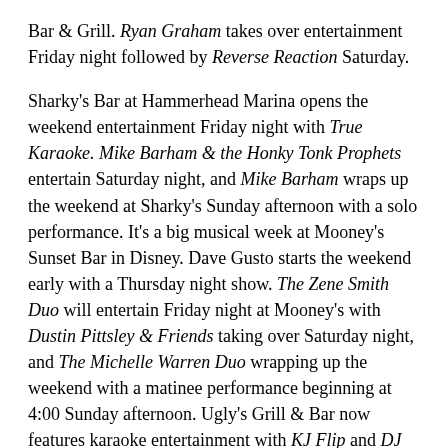Bar & Grill. Ryan Graham takes over entertainment Friday night followed by Reverse Reaction Saturday.

Sharky's Bar at Hammerhead Marina opens the weekend entertainment Friday night with True Karaoke. Mike Barham & the Honky Tonk Prophets entertain Saturday night, and Mike Barham wraps up the weekend at Sharky's Sunday afternoon with a solo performance. It's a big musical week at Mooney's Sunset Bar in Disney. Dave Gusto starts the weekend early with a Thursday night show. The Zene Smith Duo will entertain Friday night at Mooney's with Dustin Pittsley & Friends taking over Saturday night, and The Michelle Warren Duo wrapping up the weekend with a matinee performance beginning at 4:00 Sunday afternoon. Ugly's Grill & Bar now features karaoke entertainment with KJ Flip and DJ Sweet Daddy D every Friday night. Magen Faulconer performs Sunday evening (5:30) at Blind